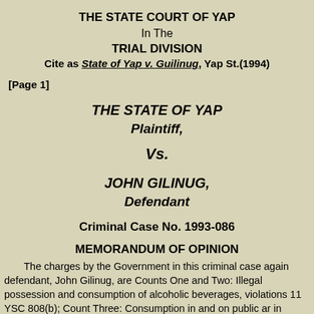THE STATE COURT OF YAP
In The
TRIAL DIVISION
Cite as State of Yap v. Guilinug, Yap St.(1994)
[Page 1]
THE STATE OF YAP
Plaintiff,
Vs.
JOHN GILINUG,
Defendant
Criminal Case No. 1993-086
MEMORANDUM OF OPINION
The charges by the Government in this criminal case against defendant, John Gilinug, are Counts One and Two: Illegal possession and consumption of alcoholic beverages, violations 11 YSC 808(b); Count Three: Consumption in and on public and in violation of 11 YSC 809(a); and Count Four: Driving while under the influence of intoxicating liquor in violation of 25 YSC